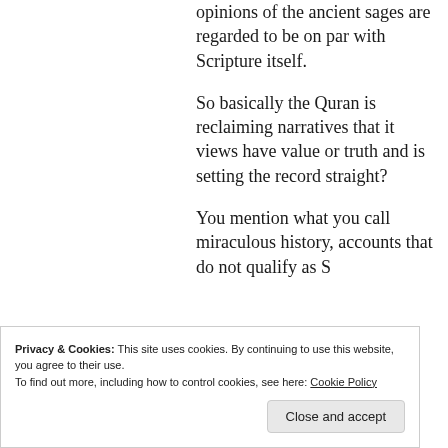opinions of the ancient sages are regarded to be on par with Scripture itself.
So basically the Quran is reclaiming narratives that it views have value or truth and is setting the record straight?
You mention what you call miraculous history, accounts that do not qualify as Scripture but are attested
Privacy & Cookies: This site uses cookies. By continuing to use this website, you agree to their use.
To find out more, including how to control cookies, see here: Cookie Policy
miraculous events are